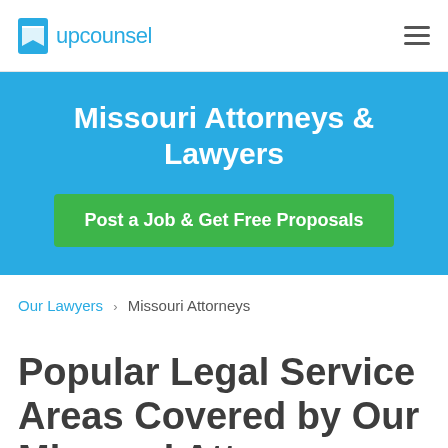upcounsel
Missouri Attorneys & Lawyers
Post a Job & Get Free Proposals
Our Lawyers > Missouri Attorneys
Popular Legal Service Areas Covered by Our Missouri Attorneys